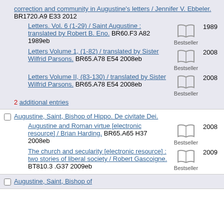correction and community in Augustine's letters / Jennifer V. Ebbeler. BR1720.A9 E33 2012 | Letters. Vol. 6 (1-29) / Saint Augustine : translated by Robert B. Eno. BR60.F3 A82 1989eb | Letters Volume 1, (1-82) / translated by Sister Wilfrid Parsons. BR65.A78 E54 2008eb | Letters Volume II, (83-130) / translated by Sister Wilfrid Parsons. BR65.A78 E54 2008eb | 2 additional entries
Augustine, Saint, Bishop of Hippo. De civitate Dei. | Augustine and Roman virtue [electronic resource] / Brian Harding. BR65.A65 H37 2008eb | The church and secularity [electronic resource] : two stories of liberal society / Robert Gascoigne. BT810.3 .G37 2009eb
Augustine, Saint, Bishop of